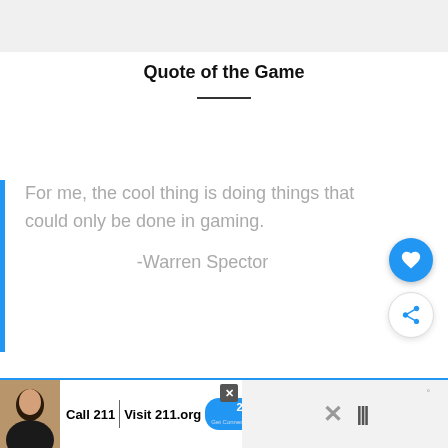Quote of the Game
For me, the cool thing is doing things that could only be done in gaming.
-Warren Spector
[Figure (other): Heart like and share floating action buttons on right side]
[Figure (other): Advertisement banner: Call 211 | Visit 211.org with 2-1-1 badge and person photo]